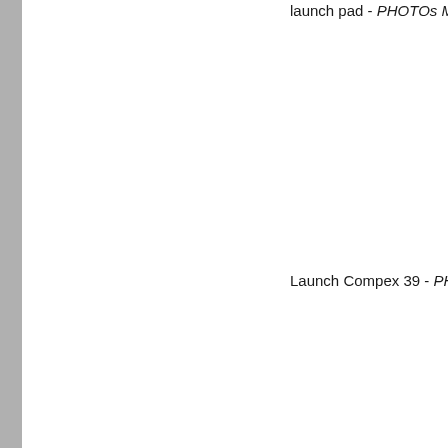launch pad - PHOTOs M
Launch Compex 39 - PHOTO